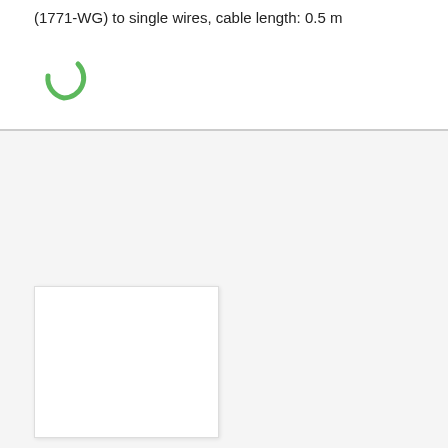(1771-WG) to single wires, cable length: 0.5 m
[Figure (other): Green loading spinner arc icon]
[Figure (photo): Product image placeholder - white rectangle with border]
Adapter
FLKM-1771-WH/SMKDS - 2910102
Migration adapter for converting Allen Bradley PLC-5 (1771-WH) to screw connection.